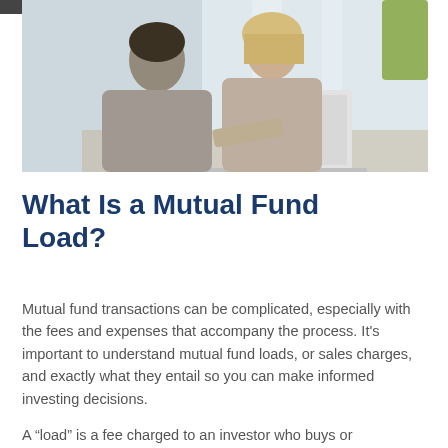[Figure (photo): Two professionals, a man and a woman, sitting together at a table looking at a laptop computer, smiling.]
What Is a Mutual Fund Load?
Mutual fund transactions can be complicated, especially with the fees and expenses that accompany the process. It's important to understand mutual fund loads, or sales charges, and exactly what they entail so you can make informed investing decisions.
A “load” is a fee charged to an investor who buys or